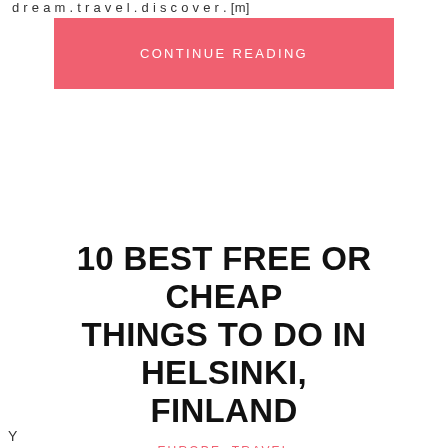d r e a m . t r a v e l . d i s c o v e r . [m]
CONTINUE READING
10 BEST FREE OR CHEAP THINGS TO DO IN HELSINKI, FINLAND
EUROPE, TRAVEL